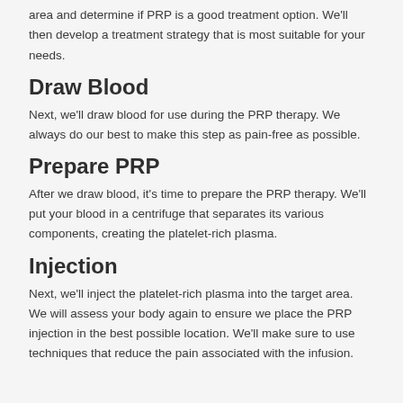area and determine if PRP is a good treatment option. We'll then develop a treatment strategy that is most suitable for your needs.
Draw Blood
Next, we'll draw blood for use during the PRP therapy. We always do our best to make this step as pain-free as possible.
Prepare PRP
After we draw blood, it's time to prepare the PRP therapy. We'll put your blood in a centrifuge that separates its various components, creating the platelet-rich plasma.
Injection
Next, we'll inject the platelet-rich plasma into the target area. We will assess your body again to ensure we place the PRP injection in the best possible location. We'll make sure to use techniques that reduce the pain associated with the infusion.